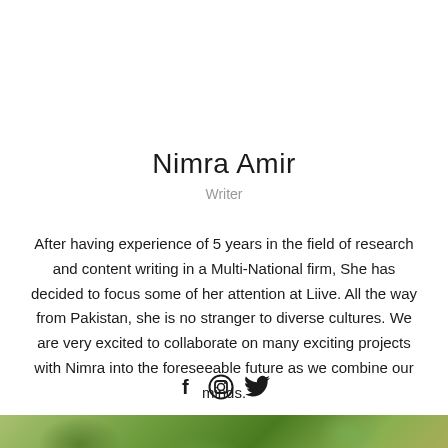Nimra Amir
Writer
After having experience of 5 years in the field of research and content writing in a Multi-National firm, She has decided to focus some of her attention at Liive. All the way from Pakistan, she is no stranger to diverse cultures. We are very excited to collaborate on many exciting projects with Nimra into the foreseeable future as we combine our minds.
[Figure (other): Social media icons: Facebook (f), Instagram (circle with square), Twitter (bird)]
[Figure (photo): Photo of trees with green foliage and brown leaves, viewed from below against a sky background]